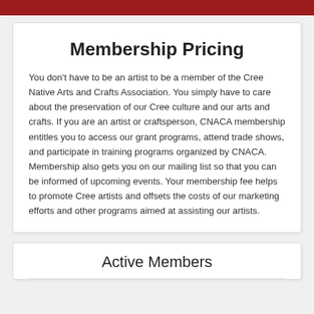Membership Pricing
You don’t have to be an artist to be a member of the Cree Native Arts and Crafts Association. You simply have to care about the preservation of our Cree culture and our arts and crafts. If you are an artist or craftsperson, CNACA membership entitles you to access our grant programs, attend trade shows, and participate in training programs organized by CNACA. Membership also gets you on our mailing list so that you can be informed of upcoming events. Your membership fee helps to promote Cree artists and offsets the costs of our marketing efforts and other programs aimed at assisting our artists.
Active Members